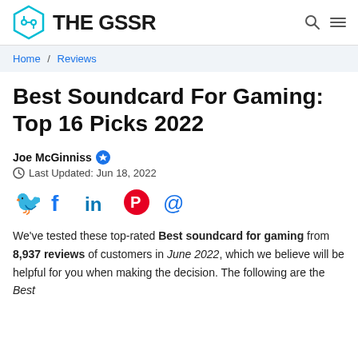THE GSSR
Home / Reviews
Best Soundcard For Gaming: Top 16 Picks 2022
Joe McGinniss ✪
Last Updated: Jun 18, 2022
[Figure (infographic): Social sharing icons: Twitter (blue bird), Facebook (dark blue f), LinkedIn (blue in), Pinterest (red P), Email (blue @)]
We've tested these top-rated Best soundcard for gaming from 8,937 reviews of customers in June 2022, which we believe will be helpful for you when making the decision. The following are the Best